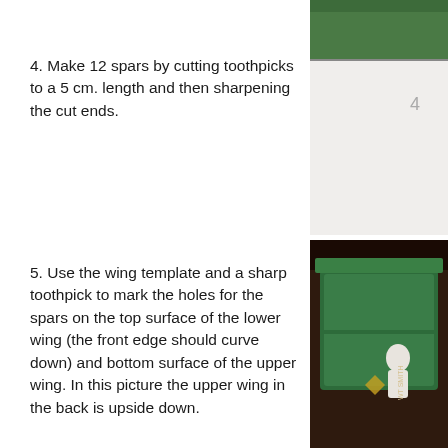4. Make 12 spars by cutting toothpicks to a 5 cm. length and then sharpening the cut ends.
[Figure (photo): Photo showing materials or step related to cutting toothpicks, partially cropped on right side of page, top position]
5. Use the wing template and a sharp toothpick to mark the holes for the spars on the top surface of the lower wing (the front edge should curve down) and bottom surface of the upper wing. In this picture the upper wing in the back is upside down.
[Figure (photo): Photo showing wing template with spars, green box and model airplane figure visible, partially cropped on right side of page, bottom position]